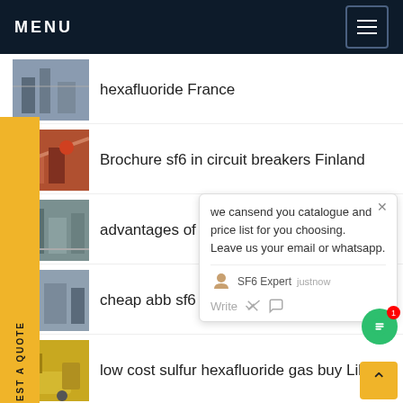MENU
hexafluoride France
Brochure sf6 in circuit breakers Finland
advantages of dilo sf6 T...
cheap abb sf6 switc...e...
low cost sulfur hexafluoride gas buy Libya
manufacture merlin gerin sf6 Denmark
next generation crompton greaves sf6
we cansend you catalogue and price list for you choosing. Leave us your email or whatsapp.
REQUEST A QUOTE